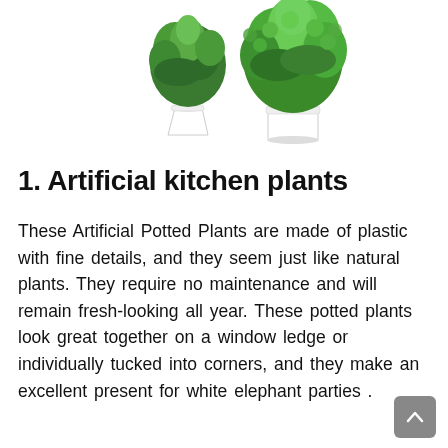[Figure (photo): Two artificial potted plants with green leaves in white pots, partially cropped at top of page]
1. Artificial kitchen plants
These Artificial Potted Plants are made of plastic with fine details, and they seem just like natural plants. They require no maintenance and will remain fresh-looking all year. These potted plants look great together on a window ledge or individually tucked into corners, and they make an excellent present for white elephant parties .